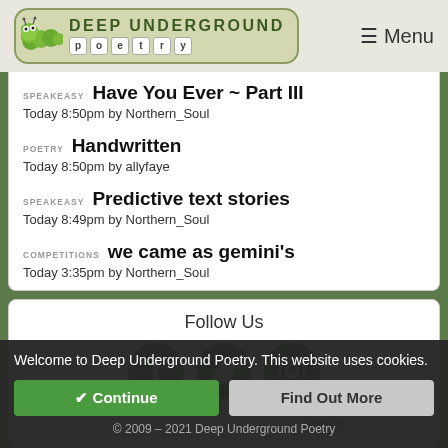Deep Underground Poetry — Menu
SPEAKEASY  Have You Ever ~ Part III
Today 8:50pm by Northern_Soul
POETRY  Handwritten
Today 8:50pm by allyfaye
SPEAKEASY  Predictive text stories
Today 8:49pm by Northern_Soul
COMPETITIONS  we came as gemini's
Today 3:35pm by Northern_Soul
Follow Us
[Figure (illustration): Three circular social media icons (Facebook, Twitter, Instagram) in dark green]
Welcome to Deep Underground Poetry. This website uses cookies.
✔ Continue   Find Out More
© 2009 – 2021 Deep Underground Poetry